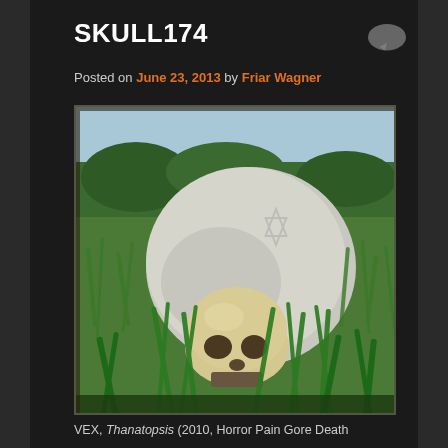SKULL174
Posted on June 23, 2013 by Friar Wagner
[Figure (photo): A human skull resting in tall green grass in front of a large weathered stone or boulder, outdoors in a grassy field with trees in the background. The skull appears yellowed/aged. A Star of David symbol is faintly visible on the stone.]
VEX, Thanatopsis (2010, Horror Pain Gore Death